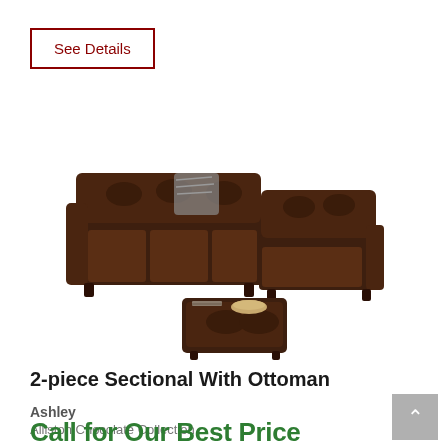See Details
[Figure (photo): Dark chocolate brown leather 2-piece sectional sofa with tufted back cushions and a matching square ottoman with decorative items on top]
2-piece Sectional With Ottoman
Ashley
Alliston Chocolate Collection